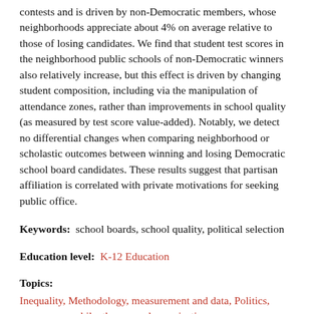contests and is driven by non-Democratic members, whose neighborhoods appreciate about 4% on average relative to those of losing candidates. We find that student test scores in the neighborhood public schools of non-Democratic winners also relatively increase, but this effect is driven by changing student composition, including via the manipulation of attendance zones, rather than improvements in school quality (as measured by test score value-added). Notably, we detect no differential changes when comparing neighborhood or scholastic outcomes between winning and losing Democratic school board candidates. These results suggest that partisan affiliation is correlated with private motivations for seeking public office.
Keywords: school boards, school quality, political selection
Education level: K-12 Education
Topics:
Inequality, Methodology, measurement and data, Politics, governance, philanthropy, and organizations